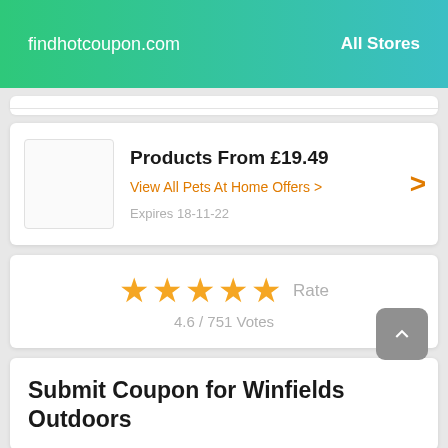findhotcoupon.com    All Stores
Products From £19.49
View All Pets At Home Offers >
Expires 18-11-22
★★★★★ Rate
4.6 / 751 Votes
Submit Coupon for Winfields Outdoors